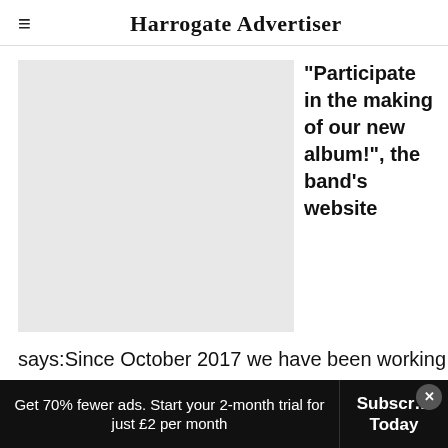Harrogate Advertiser
[Figure (photo): Light grey image placeholder rectangle]
"Participate in the making of our new album!", the band's website says:Since October 2017 we have been working on our new songs including Ancient Roads, All I Want To Be, The Oarsman and We Are Three. "We
Get 70% fewer ads. Start your 2-month trial for just £2 per month
Subscribe Today